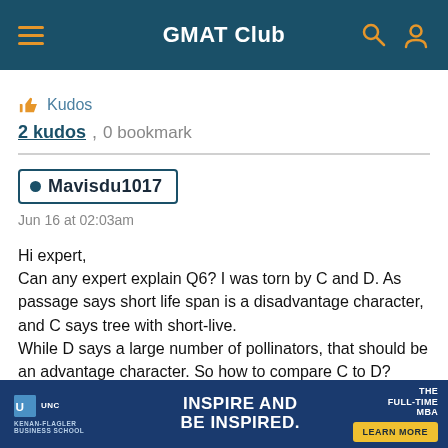GMAT Club
👍 Kudos
2 kudos, 0 bookmark
Mavisdu1017
Jun 16 at 02:03am
Hi expert,
Can any expert explain Q6? I was torn by C and D. As passage says short life span is a disadvantage character, and C says tree with short-live.
While D says a large number of pollinators, that should be an advantage character. So how to compare C to D? Thanks in
[Figure (screenshot): UNC Kenan-Flagler Business School advertisement banner: INSPIRE AND BE INSPIRED. THE FULL-TIME MBA. LEARN MORE button.]